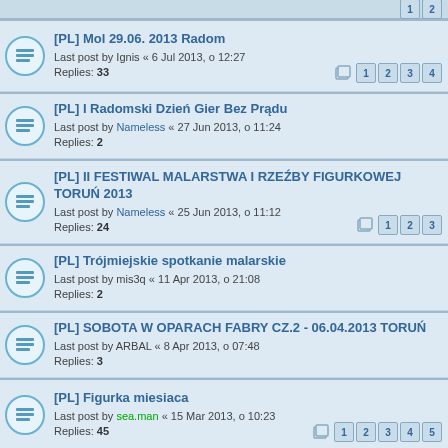[PL] Mol 29.06. 2013 Radom
Last post by Ignis « 6 Jul 2013, o 12:27
Replies: 33
[PL] I Radomski Dzień Gier Bez Prądu
Last post by Nameless « 27 Jun 2013, o 11:24
Replies: 2
[PL] II FESTIWAL MALARSTWA I RZEŹBY FIGURKOWEJ TORUŃ 2013
Last post by Nameless « 25 Jun 2013, o 11:12
Replies: 24
[PL] Trójmiejskie spotkanie malarskie
Last post by mis3q « 11 Apr 2013, o 21:08
Replies: 2
[PL] SOBOTA W OPARACH FABRY CZ.2 - 06.04.2013 TORUŃ
Last post by ARBAL « 8 Apr 2013, o 07:48
Replies: 3
[PL] Figurka miesiaca
Last post by sea.man « 15 Mar 2013, o 10:23
Replies: 45
[PL] The Fang 2013 - czyli mini-GD w Wawie
Last post by Nameless « 8 Mar 2013, o 13:38
Replies: 9
[PL] Hussar 2013 - 19.10.2013
Last post by Nameless « 28 Feb 2013, o 19:51
Replies: 8